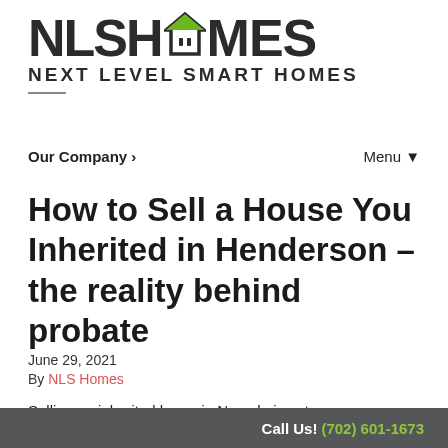[Figure (logo): NLS Homes logo with house icon and tagline NEXT LEVEL SMART HOMES]
Our Company ›	Menu ▼
How to Sell a House You Inherited in Henderson – the reality behind probate
June 29, 2021
By NLS Homes
Selling an inherited home in Nevada is not as
Call Us! (702) 601-1673